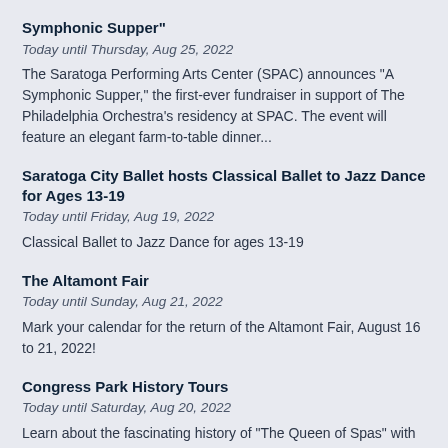Symphonic Supper"
Today until Thursday, Aug 25, 2022
The Saratoga Performing Arts Center (SPAC) announces "A Symphonic Supper," the first-ever fundraiser in support of The Philadelphia Orchestra's residency at SPAC. The event will feature an elegant farm-to-table dinner...
Saratoga City Ballet hosts Classical Ballet to Jazz Dance for Ages 13-19
Today until Friday, Aug 19, 2022
Classical Ballet to Jazz Dance for ages 13-19
The Altamont Fair
Today until Sunday, Aug 21, 2022
Mark your calendar for the return of the Altamont Fair, August 16 to 21, 2022!
Congress Park History Tours
Today until Saturday, Aug 20, 2022
Learn about the fascinating history of "The Queen of Spas" with a leisurely walk thru Congress Park. Tours are